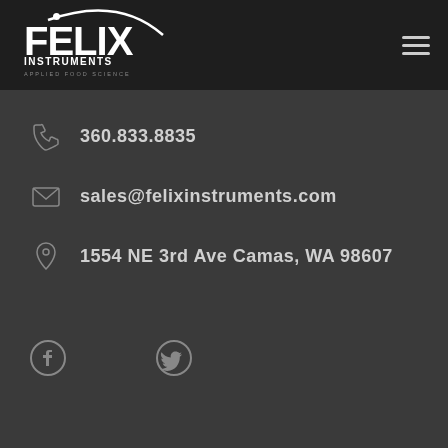[Figure (logo): Felix Instruments Applied Food Science logo in white on dark header bar]
[Figure (other): Hamburger menu icon (three horizontal lines) in top right corner]
360.833.8835
sales@felixinstruments.com
1554 NE 3rd Ave Camas, WA 98607
[Figure (other): Facebook circle icon]
[Figure (other): Twitter bird icon]